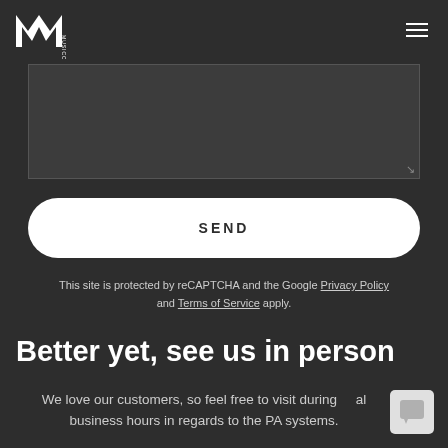Musicology logo and navigation menu
[Figure (screenshot): Text area input box with resize handle in the bottom-right corner]
SEND
This site is protected by reCAPTCHA and the Google Privacy Policy and Terms of Service apply.
Better yet, see us in person!
We love our customers, so feel free to visit during regular business hours in regards to the PA systems.